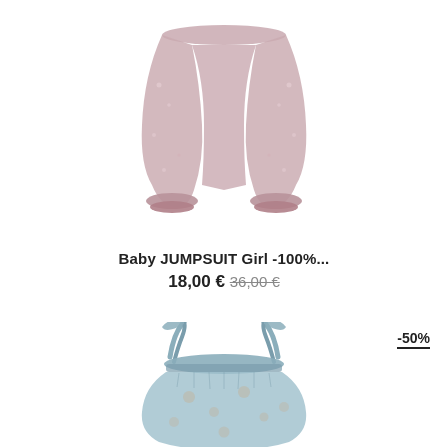[Figure (photo): Baby girl jumpsuit/pants in pink floral fabric, gathered at ankles, product photo on white background]
Baby JUMPSUIT Girl -100%...
18,00 € 36,00 €
-50%
[Figure (photo): Baby girl dress with shoulder straps in light blue floral fabric, gathered waist, product photo on white background]